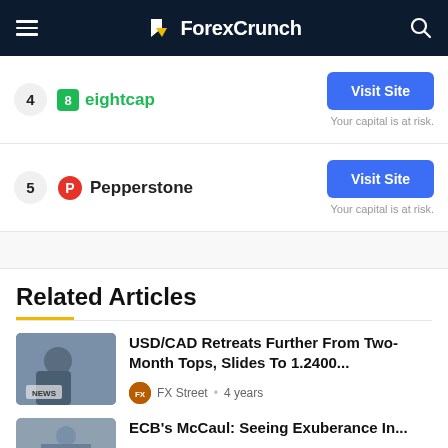ForexCrunch
4 eightcap — Visit Site — Your capital is at risk.
5 Pepperstone — Visit Site — Your capital is at risk.
Related Articles
USD/CAD Retreats Further From Two-Month Tops, Slides To 1.2400...
FX Street • 4 years
ECB's McCaul: Seeing Exuberance In...